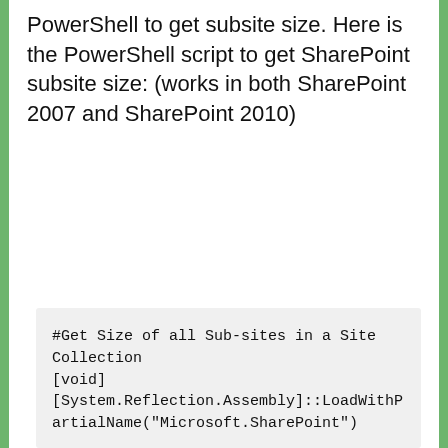PowerShell to get subsite size. Here is the PowerShell script to get SharePoint subsite size: (works in both SharePoint 2007 and SharePoint 2010)
#Get Size of all Sub-sites in a Site Collection
[void]
[System.Reflection.Assembly]::LoadWithPartialName("Microsoft.SharePoint")

# Function to calculate folder size
Function CalculateFolderSize($Folder)
{
        [long]$FolderSize = 0

        foreach ($File in $Folder.Files)
        {
              #Get File Size
              $FolderSize +=